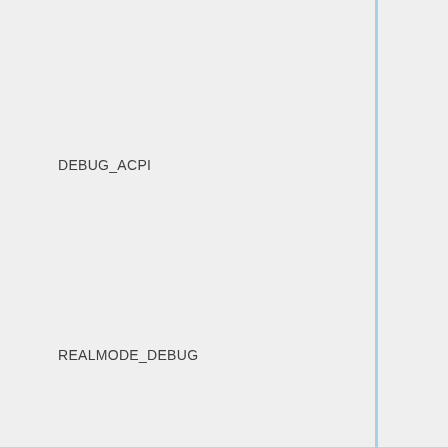DEBUG_ACPI
REALMODE_DEBUG
X86EMU_DEBUG
X86EMU_DEBUG_JMP
X86EMU_DEBUG_TRACE